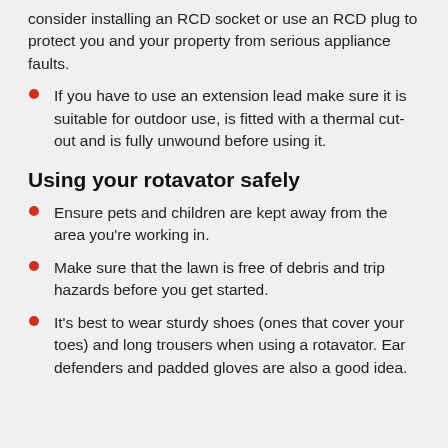consider installing an RCD socket or use an RCD plug to protect you and your property from serious appliance faults.
If you have to use an extension lead make sure it is suitable for outdoor use, is fitted with a thermal cut-out and is fully unwound before using it.
Using your rotavator safely
Ensure pets and children are kept away from the area you're working in.
Make sure that the lawn is free of debris and trip hazards before you get started.
It's best to wear sturdy shoes (ones that cover your toes) and long trousers when using a rotavator. Ear defenders and padded gloves are also a good idea.